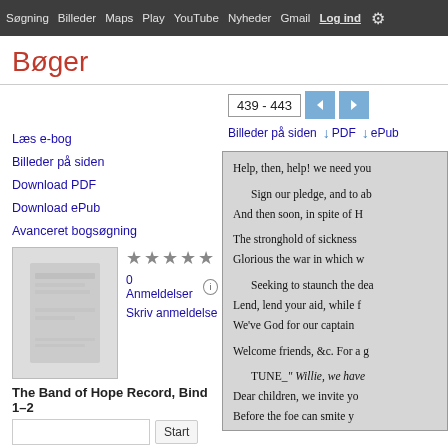Søgning  Billeder  Maps  Play  YouTube  Nyheder  Gmail  Log ind  [settings]
Bøger
Læs e-bog
Billeder på siden
Download PDF
Download ePub
Avanceret bogsøgning
Hjælp
Min samling
0 Anmeldelser
Skriv anmeldelse
The Band of Hope Record, Bind 1–2
439 - 443
Billeder på siden  ↓ PDF  ↓ ePub
Help, then, help! we need you
Sign our pledge, and to ab
And then soon, in spite of H

The stronghold of sickness
Glorious the war in which w

Seeking to staunch the dea
Lend, lend your aid, while f
We've God for our captain

Welcome friends, &c. For a g

TUNE_" Willie, we have
Dear children, we invite yo
Before the foe can smite y